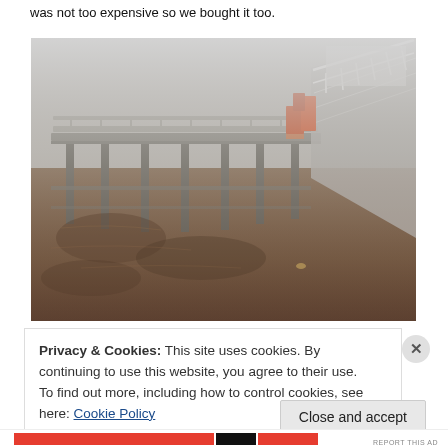was not too expensive so we bought it too.
[Figure (photo): Foggy view of a pier or dock structure over murky brown floodwater. Metal railings and support pillars are visible, with orange and red barriers on the right side. The scene is misty and grey.]
Privacy & Cookies: This site uses cookies. By continuing to use this website, you agree to their use.
To find out more, including how to control cookies, see here: Cookie Policy
Close and accept